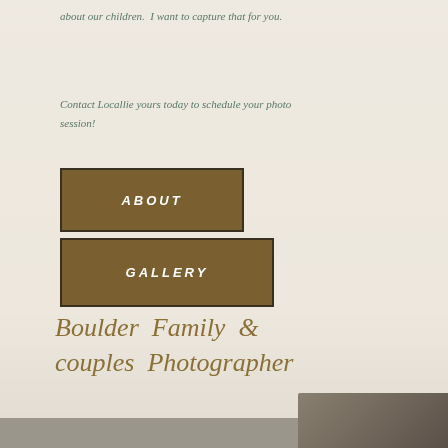about our children.  I want to capture that for you.
Contact Locallie yours today to schedule your photo session!
ABOUT
GALLERY
Boulder Family & couples Photographer